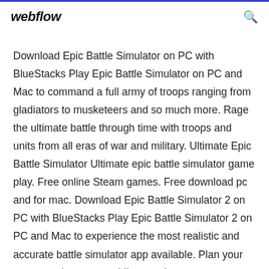webflow
Download Epic Battle Simulator on PC with BlueStacks Play Epic Battle Simulator on PC and Mac to command a full army of troops ranging from gladiators to musketeers and so much more. Rage the ultimate battle through time with troops and units from all eras of war and military. Ultimate Epic Battle Simulator Ultimate epic battle simulator game play. Free online Steam games. Free download pc and for mac. Download Epic Battle Simulator 2 on PC with BlueStacks Play Epic Battle Simulator 2 on PC and Mac to experience the most realistic and accurate battle simulator app available. Plan your strategy, place your soldiers, and